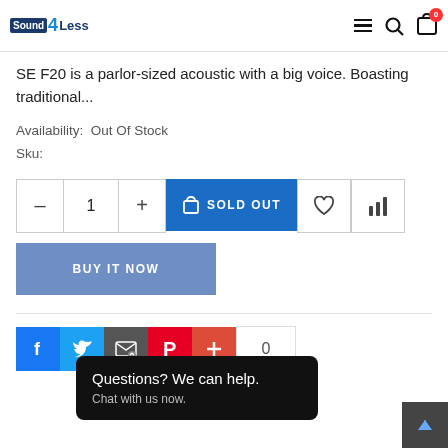Sound4Less — header with navigation icons
SE F20 is a parlor-sized acoustic with a big voice. Boasting traditional...
Availability:  Out Of Stock
Sku:
[Figure (screenshot): Product action buttons: quantity selector (minus, 1, plus), SOLD OUT button (blue), wishlist heart icon, compare bar-chart icon, BUY IT NOW button (blue), social share icons (Facebook, Twitter, Email, Pinterest, Google+, share count 0), chat popup 'Questions? We can help. Chat with us now.', scroll-to-top button]